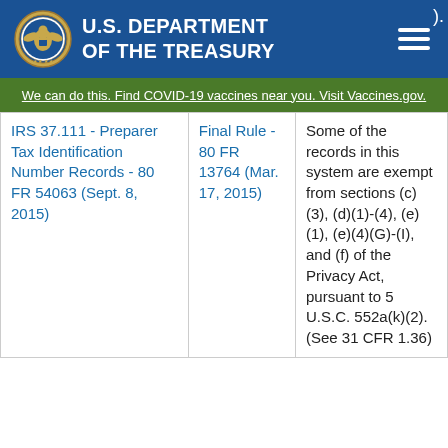U.S. DEPARTMENT OF THE TREASURY
We can do this. Find COVID-19 vaccines near you. Visit Vaccines.gov.
| System Name | Citation | Exemptions |
| --- | --- | --- |
| IRS 37.111 - Preparer Tax Identification Number Records - 80 FR 54063 (Sept. 8, 2015) | Final Rule - 80 FR 13764 (Mar. 17, 2015) | Some of the records in this system are exempt from sections (c)(3), (d)(1)-(4), (e)(1), (e)(4)(G)-(I), and (f) of the Privacy Act, pursuant to 5 U.S.C. 552a(k)(2). (See 31 CFR 1.36) |